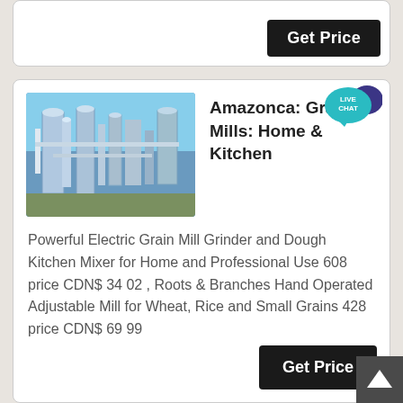[Figure (screenshot): Get Price button on white card (partial top card)]
[Figure (screenshot): Industrial grain mill machinery photo — blue/silver silos and equipment]
Amazonca: Grain Mills: Home & Kitchen
[Figure (illustration): Live Chat speech bubble icon in teal with white text LIVE CHAT]
Powerful Electric Grain Mill Grinder and Dough Kitchen Mixer for Home and Professional Use 608 price CDN$ 34 02 , Roots & Branches Hand Operated Adjustable Mill for Wheat, Rice and Small Grains 428 price CDN$ 69 99
[Figure (screenshot): Get Price button]
[Figure (photo): Interior of grain mill facility — large industrial space with machinery]
Best Grain Mill for Home Use - Buying Guide and Recommendation
The Tall Cast Iron Hand Operated Grain Mill has very goo qualities that would serve you a all on a day to day basi...